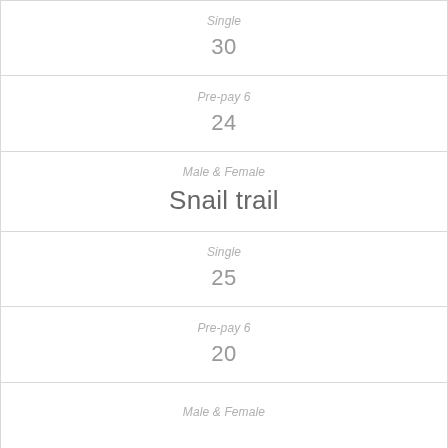Single
30
Pre-pay 6
24
Male & Female
Snail trail
Single
25
Pre-pay 6
20
Male & Female